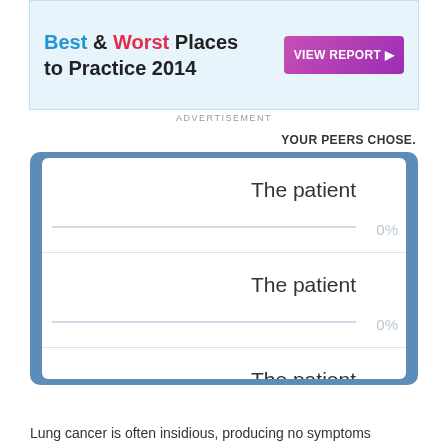[Figure (screenshot): Advertisement banner for 'Best & Worst Places to Practice 2014' with a VIEW REPORT button]
ADVERTISEMENT
YOUR PEERS CHOSE.
[Figure (screenshot): Medical quiz answer panel showing four answer rows each labeled 'The patient' with 0% bars]
Lung cancer is often insidious, producing no symptoms